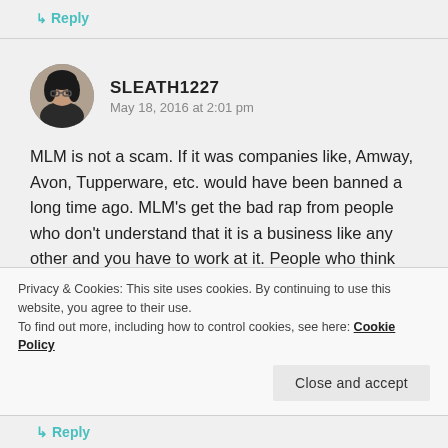↳ Reply
[Figure (photo): Avatar photo of a woman with dark hair and glasses, circular crop]
SLEATH1227
May 18, 2016 at 2:01 pm
MLM is not a scam. If it was companies like, Amway, Avon, Tupperware, etc. would have been banned a long time ago. MLM's get the bad rap from people who don't understand that it is a business like any other and you have to work at it. People who think they can get rich quick and find out they actually have to work, are the ones who say its a "scam". MLM's are for people
Privacy & Cookies: This site uses cookies. By continuing to use this website, you agree to their use.
To find out more, including how to control cookies, see here: Cookie Policy
Close and accept
↳ Reply